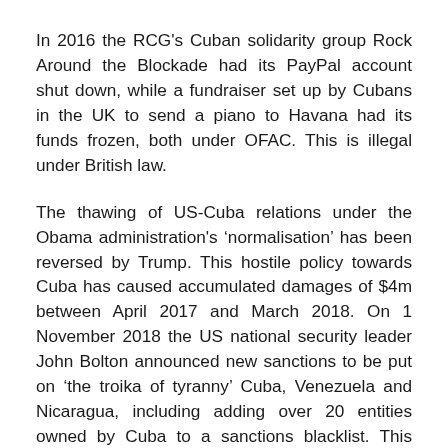In 2016 the RCG's Cuban solidarity group Rock Around the Blockade had its PayPal account shut down, while a fundraiser set up by Cubans in the UK to send a piano to Havana had its funds frozen, both under OFAC. This is illegal under British law.
The thawing of US-Cuba relations under the Obama administration's 'normalisation' has been reversed by Trump. This hostile policy towards Cuba has caused accumulated damages of $4m between April 2017 and March 2018. On 1 November 2018 the US national security leader John Bolton announced new sanctions to be put on 'the troika of tyranny' Cuba, Venezuela and Nicaragua, including adding over 20 entities owned by Cuba to a sanctions blacklist. This intensification was reflected at the UN General Assembly.
Unlike previous years at the Assembly, this year the